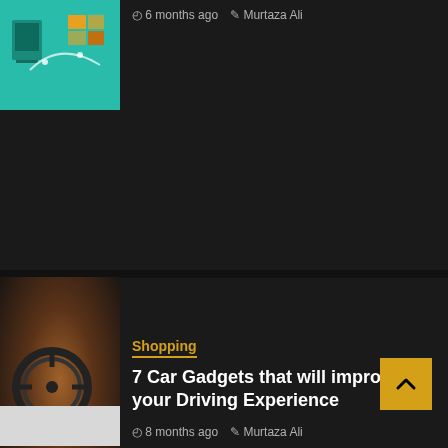6 months ago  Murtaza Ali
[Figure (illustration): Teal illustration thumbnail showing tech/gadget graphic]
[Figure (photo): Car interior photo showing steering wheel and dashboard controls with a hand reaching toward radio buttons]
Shopping
7 Car Gadgets that will improve your Driving Experience
8 months ago  Murtaza Ali
[Figure (photo): Partial white/grey thumbnail at bottom of page]